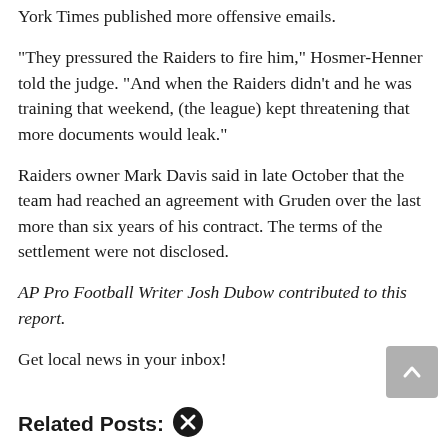York Times published more offensive emails.
“They pressured the Raiders to fire him,” Hosmer-Henner told the judge. “And when the Raiders didn’t and he was training that weekend, (the league) kept threatening that more documents would leak.”
Raiders owner Mark Davis said in late October that the team had reached an agreement with Gruden over the last more than six years of his contract. The terms of the settlement were not disclosed.
AP Pro Football Writer Josh Dubow contributed to this report.
Get local news in your inbox!
Related Posts: